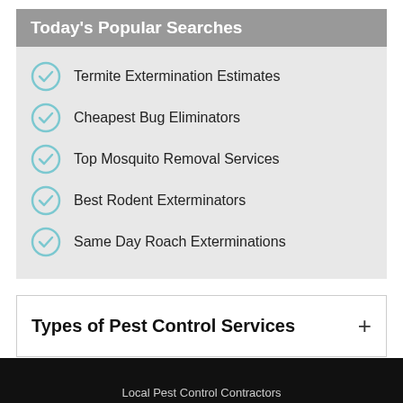Today's Popular Searches
Termite Extermination Estimates
Cheapest Bug Eliminators
Top Mosquito Removal Services
Best Rodent Exterminators
Same Day Roach Exterminations
Types of Pest Control Services
Informative Pest-Related Articles
Local Pest Control Contractors